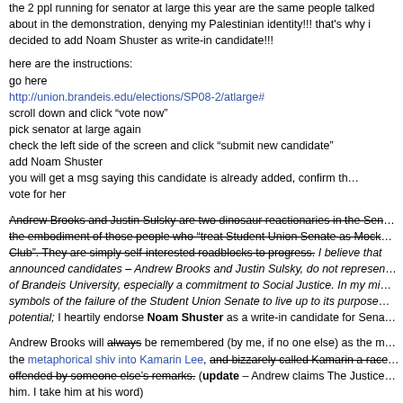the 2 ppl running for senator at large this year are the same people talked about in the demonstration, denying my Palestinian identity!!! that's why i decided to add Noam Shuster as write-in candidate!!!
here are the instructions:
go here
http://union.brandeis.edu/elections/SP08-2/atlarge#
scroll down and click “vote now”
pick senator at large again
check the left side of the screen and click “submit new candidate”
add Noam Shuster
you will get a msg saying this candidate is already added, confirm that and vote for her
Andrew Brooks and Justin Sulsky are two dinosaur reactionaries in the Sen... the embodiment of those people who “treat Student Union Senate as Mock... Club”. They are simply self-interested roadblocks to progress. I believe that announced candidates – Andrew Brooks and Justin Sulsky, do not represent... of Brandeis University, especially a commitment to Social Justice. In my mi... symbols of the failure of the Student Union Senate to live up to its purpose... potential; I heartily endorse Noam Shuster as a write-in candidate for Sena...
Andrew Brooks will always be remembered (by me, if no one else) as the m... the metaphorical shiv into Kamarin Lee, and bizzarely called Kamarin a race... offended by someone else’s remarks. (update – Andrew claims The Justice... him. I take him at his word)
update: Turns out Lisa Hananiva sent out that message accidentally from P...